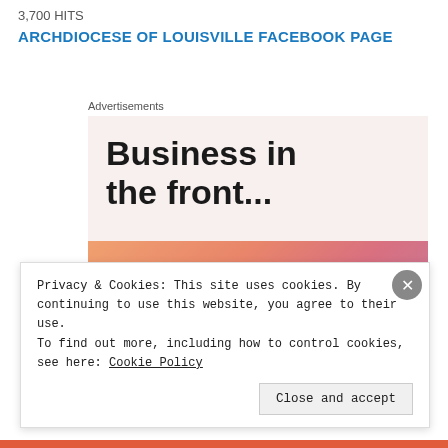3,700 HITS
ARCHDIOCESE OF LOUISVILLE FACEBOOK PAGE
Advertisements
[Figure (screenshot): Advertisement banner showing 'Business in the front...' text in bold on a light pink/beige background, with a WordPress-branded colorful gradient strip below displaying the WordPress name in serif font.]
Privacy & Cookies: This site uses cookies. By continuing to use this website, you agree to their use.
To find out more, including how to control cookies, see here: Cookie Policy
Close and accept